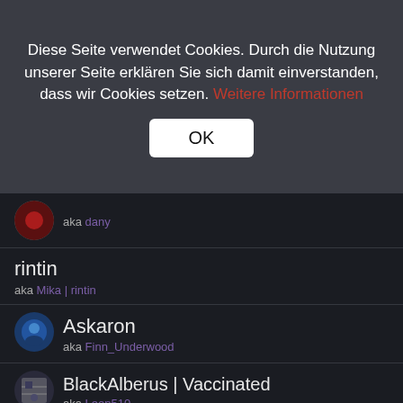Diese Seite verwendet Cookies. Durch die Nutzung unserer Seite erklären Sie sich damit einverstanden, dass wir Cookies setzen. Weitere Informationen
OK
aka dany
rintin
aka Mika | rintin
[Figure (photo): User avatar for Askaron]
Askaron
aka Finn_Underwood
[Figure (photo): User avatar for BlackAlberus]
BlackAlberus | Vaccinated
aka Leon510
[Figure (logo): User avatar for [RS] EinfachRoblig]
[RS] EinfachRoblig